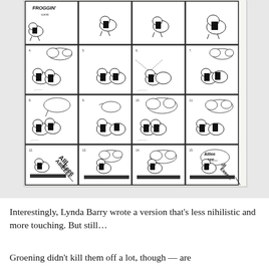[Figure (illustration): A black and white comic strip page showing multiple panels with cartoon characters (a froggin comic). The strip has 4 rows and 4 columns of panels showing cartoon animal characters with action sequences. The title 'FROGGIN' is visible at top left. Some panels show 'AIIIEEEE...' text. Characters appear to be walking, interacting, and in the final row one falls off a ledge.]
Interestingly, Lynda Barry wrote a version that's less nihilistic and more touching. But still...
Groening didn't kill them off a lot, though — are